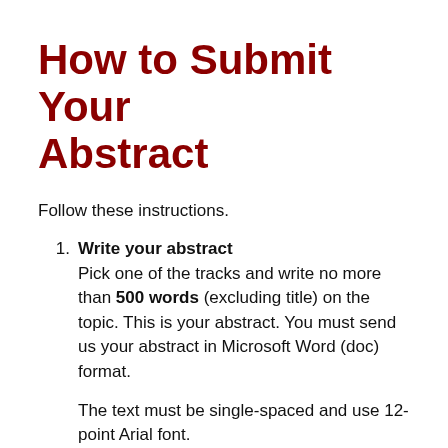How to Submit Your Abstract
Follow these instructions.
Write your abstract
Pick one of the tracks and write no more than 500 words (excluding title) on the topic. This is your abstract. You must send us your abstract in Microsoft Word (doc) format.

The text must be single-spaced and use 12-point Arial font.
The abstract must contain a title.